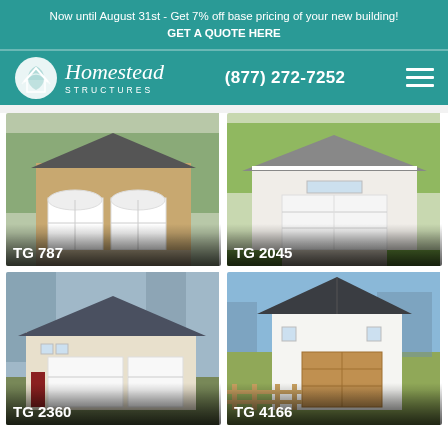Now until August 31st - Get 7% off base pricing of your new building! GET A QUOTE HERE
[Figure (logo): Homesteads Structures logo with circular icon and italic brand name]
(877) 272-7252
[Figure (photo): Two-car garage with arched-top white doors and tan siding]
TG 787
[Figure (photo): White two-car garage with large door and green lawn]
TG 2045
[Figure (photo): Beige two-car garage with dark roof and red door accent]
TG 2360
[Figure (photo): White barn-style building with dark metal roof and wood fence]
TG 4166